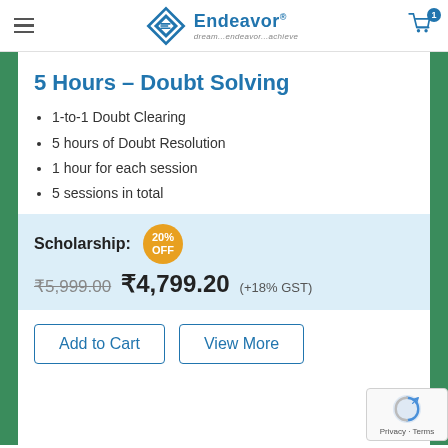Endeavor — dream...endeavor...achieve
5 Hours – Doubt Solving
1-to-1 Doubt Clearing
5 hours of Doubt Resolution
1 hour for each session
5 sessions in total
Scholarship: 20% OFF
₹5,999.00  ₹4,799.20  (+18% GST)